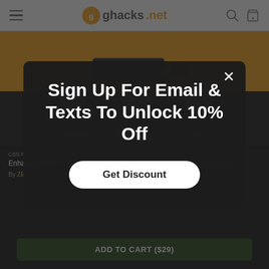ghacks.net
[Figure (illustration): Orange banner with keyboard and electronics illustration]
ACCESS Lifetime | CONTENT 1.0 Hours | LESSONS 16
CSS Foundations
Enhance Website Aesthetics & Designs with the Style Sheet Language
By ZENVA | in Online Courses
Sign Up For Email & Texts To Unlock 10% Off
Get Discount
ADD TO CART ($29)